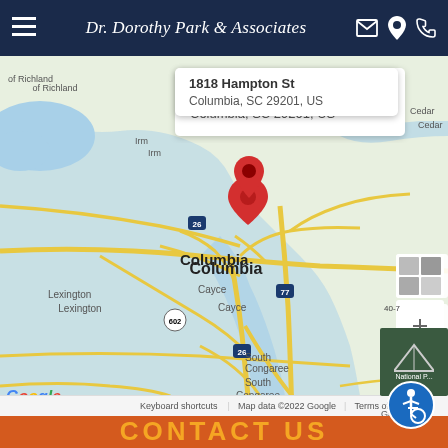Dr. Dorothy Park & Associates
[Figure (map): Google Maps screenshot showing location pin at 1818 Hampton St, Columbia, SC 29201, US. Map shows Columbia, SC area with surrounding areas including Lexington, Cayce, Forest Acres, Hopkins, Congaree, Gaston, South Congaree, Sandy Run, and Macedon. Roads including I-26, I-77, US-321, US-302, and US-176 are visible.]
1818 Hampton St
Columbia, SC 29201, US
CONTACT US